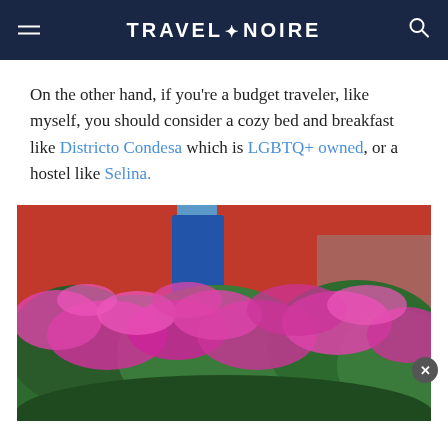TRAVEL+NOIRE
On the other hand, if you’re a budget traveler, like myself, you should consider a cozy bed and breakfast like Districto Condesa which is LGBTQ+ owned, or a hostel like Selina.
[Figure (photo): Photo of a red building exterior covered with lush bougainvillea vines with bright pink/magenta flowers, blue sky visible in the background, and a blue architectural element on the building facade.]